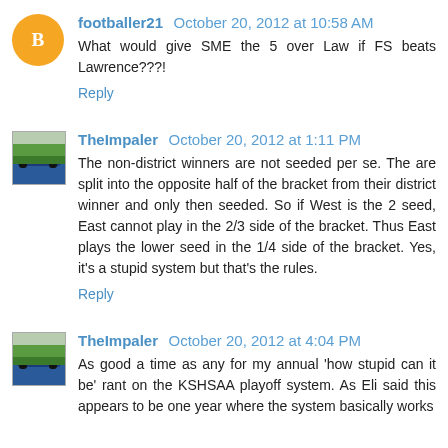footballer21  October 20, 2012 at 10:58 AM
What would give SME the 5 over Law if FS beats Lawrence???!
Reply
TheImpaler  October 20, 2012 at 1:11 PM
The non-district winners are not seeded per se. The are split into the opposite half of the bracket from their district winner and only then seeded. So if West is the 2 seed, East cannot play in the 2/3 side of the bracket. Thus East plays the lower seed in the 1/4 side of the bracket. Yes, it's a stupid system but that's the rules.
Reply
TheImpaler  October 20, 2012 at 4:04 PM
As good a time as any for my annual 'how stupid can it be' rant on the KSHSAA playoff system. As Eli said this appears to be one year where the system basically works